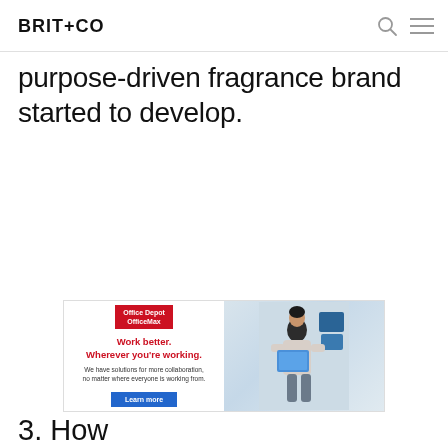BRIT+CO
purpose-driven fragrance brand started to develop.
[Figure (photo): Office Depot OfficeMax advertisement banner. Left side shows logo, headline 'Work better. Wherever you're working.' with body text 'We have solutions for more collaboration, no matter where everyone is working from.' and a blue 'Learn more' button. Right side shows a woman with short dark hair in a light sweater looking at blue folder/binder, with blue storage boxes in background.]
3. Ho… start